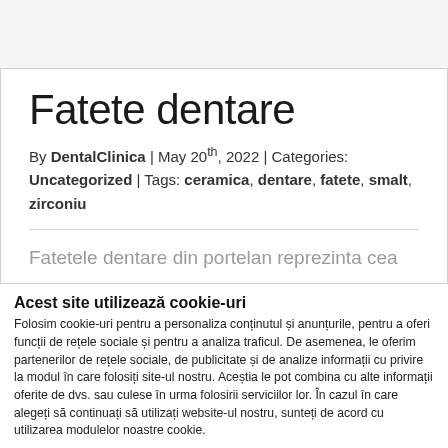Fatete dentare
By DentalClinica | May 20th, 2022 | Categories: Uncategorized | Tags: ceramica, dentare, fatete, smalt, zirconiu
Fatetele dentare din portelan reprezinta cea mai de succes minim-invaziva procedura
Acest site utilizează cookie-uri
Folosim cookie-uri pentru a personaliza conținutul și anunțurile, pentru a oferi funcții de rețele sociale și pentru a analiza traficul. De asemenea, le oferim partenerilor de rețele sociale, de publicitate și de analize informații cu privire la modul în care folosiți site-ul nostru. Aceștia le pot combina cu alte informații oferite de dvs. sau culese în urma folosirii serviciilor lor. În cazul în care alegeți să continuați să utilizați website-ul nostru, sunteți de acord cu utilizarea modulelor noastre cookie.